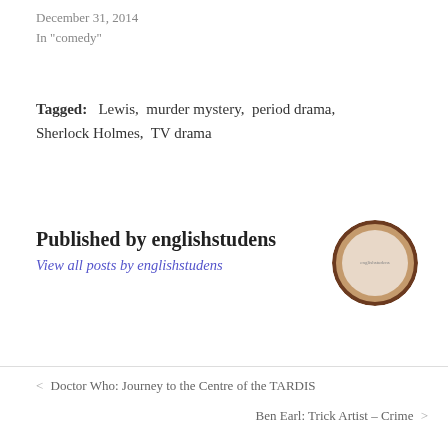December 31, 2014
In "comedy"
Tagged:   Lewis,  murder mystery,  period drama,  Sherlock Holmes,  TV drama
Published by englishstudens
View all posts by englishstudens
[Figure (photo): Circular avatar image with dark brown border, showing a light-colored circular design inside]
< Doctor Who: Journey to the Centre of the TARDIS
Ben Earl: Trick Artist – Crime >